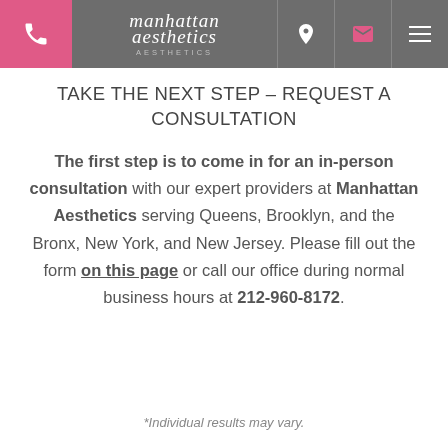Manhattan Aesthetics — navigation header with phone, location, email, and menu icons
TAKE THE NEXT STEP – REQUEST A CONSULTATION
The first step is to come in for an in-person consultation with our expert providers at Manhattan Aesthetics serving Queens, Brooklyn, and the Bronx, New York, and New Jersey. Please fill out the form on this page or call our office during normal business hours at 212-960-8172.
*Individual results may vary.